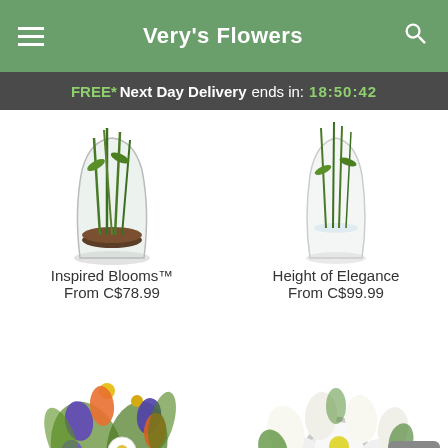Very's Flowers
FREE* Next Day Delivery ends in: 18:50:42
[Figure (photo): Inspired Blooms - tall glass vase with green stems and soil visible at bottom]
Inspired Blooms™
From C$78.99
[Figure (photo): Height of Elegance - tall clear glass vase with green stems]
Height of Elegance
From C$99.99
[Figure (photo): Colorful flower bouquet with pink lilies, orange tulips, purple iris, white daisies and greenery]
[Figure (photo): White flower basket arrangement with white lilies, gerbera daisies, and white handle]